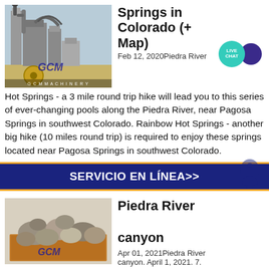[Figure (photo): Industrial factory/machinery photo with GCM Machinery watermark]
Springs in Colorado (+ Map)
Feb 12, 2020Piedra River Hot Springs - a 3 mile round trip hike will lead you to this series of ever-changing pools along the Piedra River, near Pagosa Springs in southwest Colorado. Rainbow Hot Springs - another big hike (10 miles round trip) is required to enjoy these springs located near Pagosa Springs in southwest Colorado.
SERVICIO EN LÍNEA>>
[Figure (photo): Rocks/boulders in a container with GCM watermark]
Piedra River canyon
Apr 01, 2021Piedra River canyon. April 1, 2021. 7.